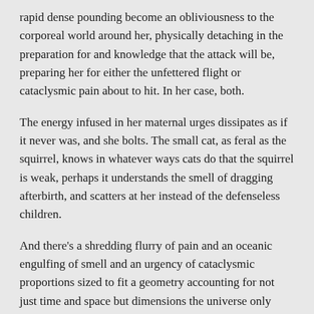rapid dense pounding become an obliviousness to the corporeal world around her, physically detaching in the preparation for and knowledge that the attack will be, preparing her for either the unfettered flight or cataclysmic pain about to hit. In her case, both.
The energy infused in her maternal urges dissipates as if it never was, and she bolts. The small cat, as feral as the squirrel, knows in whatever ways cats do that the squirrel is weak, perhaps it understands the smell of dragging afterbirth, and scatters at her instead of the defenseless children.
And there's a shredding flurry of pain and an oceanic engulfing of smell and an urgency of cataclysmic proportions sized to fit a geometry accounting for not just time and space but dimensions the universe only displays in moments of such disproportionate significance, in moments when energy becomes so pure and raw that it fuses with all energies, when a squirrel experiences frequencies so resonant and frenzied that the focus and power blow open a simultaneous exposure to the physics of dimensions previously hidden, only exposed when the phasing of sine-pure waves coalesce and produce peaks that range beyond scale powerfully enough to